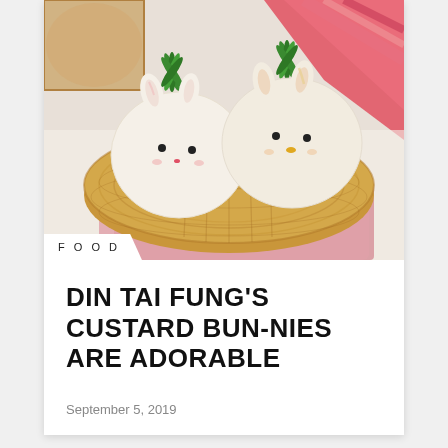[Figure (photo): Two cute bunny-shaped custard buns (baos) sitting in a woven basket on a red cloth. The buns have small ears, dot eyes, and pink/yellow details, with green leaf garnishes on top.]
FOOD
DIN TAI FUNG'S CUSTARD BUN-NIES ARE ADORABLE
September 5, 2019